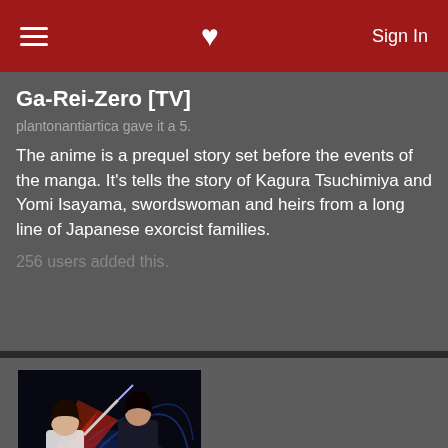Sign In
Ga-Rei-Zero [TV]
plantonantiartica gave it a 5.
The anime is a prequel story set before the events of the manga. It’s tells the story of Kagura Tsuchimiya and Yomi Isayama, swordswoman and heirs from a long line of Japanese exorcist families.
256 users added this.
[Figure (illustration): Anime promotional art for Ga-Rei: Zero showing two female characters in action poses with swords against a dark background with swirling elements]
Ga-Rei: Zero [TV]
plantonantiartica gave it a 5.
* An anime-only prequel to the Ga-Rei manga by